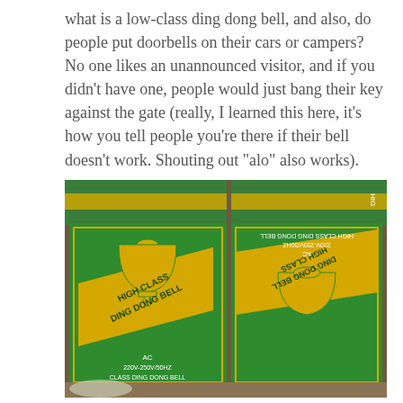what is a low-class ding dong bell, and also, do people put doorbells on their cars or campers? No one likes an unannounced visitor, and if you didn't have one, people would just bang their key against the gate (really, I learned this here, it's how you tell people you're there if their bell doesn't work. Shouting out "alo" also works).
[Figure (photo): Photo of two green cardboard boxes labeled 'HIGH CLASS DING DONG BELL, AC 220V-250V/50HZ'. One box faces forward showing the label upright; the other box is turned upside down showing the label inverted. Both boxes have yellow diagonal banners with the product name and an illustration of a bell.]